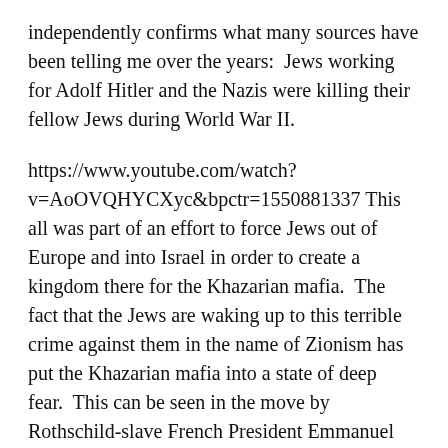independently confirms what many sources have been telling me over the years:  Jews working for Adolf Hitler and the Nazis were killing their fellow Jews during World War II.
https://www.youtube.com/watch?v=AoOVQHYCXyc&bpctr=1550881337 This all was part of an effort to force Jews out of Europe and into Israel in order to create a kingdom there for the Khazarian mafia.  The fact that the Jews are waking up to this terrible crime against them in the name of Zionism has put the Khazarian mafia into a state of deep fear.  This can be seen in the move by Rothschild-slave French President Emmanuel Macron to make anti-Zionism a criminal